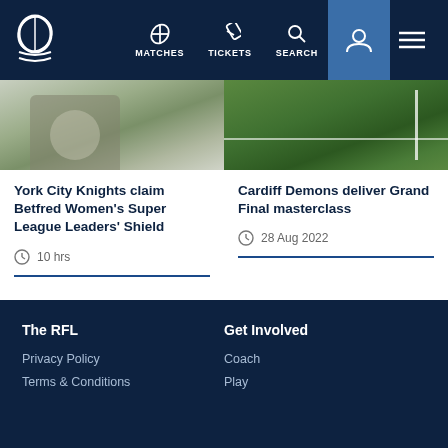MATCHES | TICKETS | SEARCH
[Figure (photo): Two-panel image: left shows a rugby player in white/black uniform; right shows a grass rugby pitch with white line markings.]
York City Knights claim Betfred Women's Super League Leaders' Shield
10 hrs
Cardiff Demons deliver Grand Final masterclass
28 Aug 2022
The RFL | Privacy Policy | Terms & Conditions | Get Involved | Coach | Play